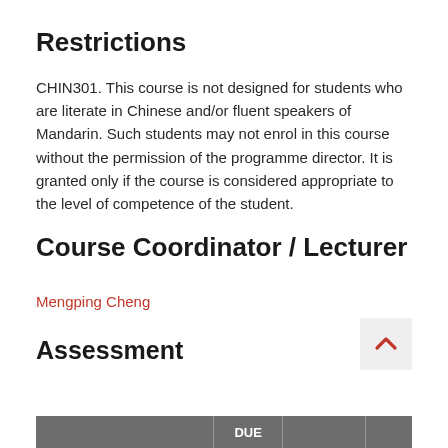Restrictions
CHIN301. This course is not designed for students who are literate in Chinese and/or fluent speakers of Mandarin. Such students may not enrol in this course without the permission of the programme director. It is granted only if the course is considered appropriate to the level of competence of the student.
Course Coordinator / Lecturer
Mengping Cheng
Assessment
|  | DUE |  |  |
| --- | --- | --- | --- |